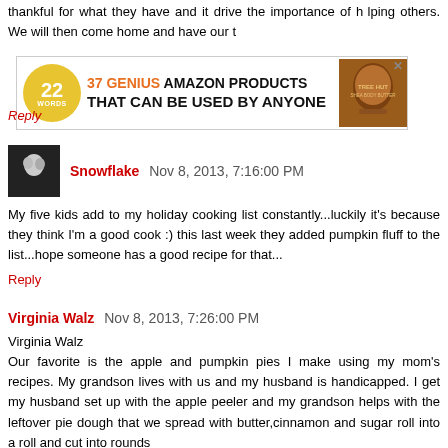thankful for what they have and it drive the importance of helping others. We will then come home and have our t...
[Figure (screenshot): Advertisement banner: '22 Words - 37 GENIUS AMAZON PRODUCTS THAT CAN BE USED BY ANYONE' with product image]
Reply
Snowflake  Nov 8, 2013, 7:16:00 PM
My five kids add to my holiday cooking list constantly...luckily it's because they think I'm a good cook :) this last week they added pumpkin fluff to the list...hope someone has a good recipe for that...
Reply
Virginia Walz  Nov 8, 2013, 7:26:00 PM
Virginia Walz
Our favorite is the apple and pumpkin pies I make using my mom's recipes. My grandson lives with us and my husband is handicapped. I get my husband set up with the apple peeler and my grandson helps with the leftover pie dough that we spread with butter,cinnamon and sugar roll into a roll and cut into rounds